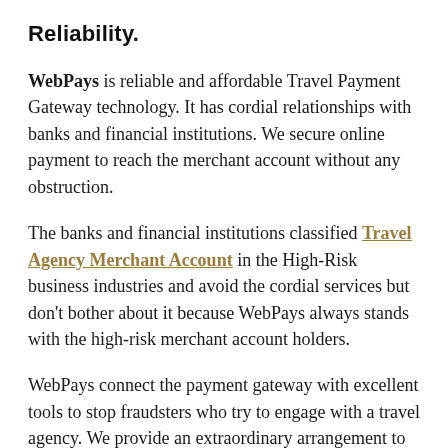Reliability.
WebPays is reliable and affordable Travel Payment Gateway technology. It has cordial relationships with banks and financial institutions. We secure online payment to reach the merchant account without any obstruction.
The banks and financial institutions classified Travel Agency Merchant Account in the High-Risk business industries and avoid the cordial services but don't bother about it because WebPays always stands with the high-risk merchant account holders.
WebPays connect the payment gateway with excellent tools to stop fraudsters who try to engage with a travel agency. We provide an extraordinary arrangement to detect fraudulent activities. This arrangement is